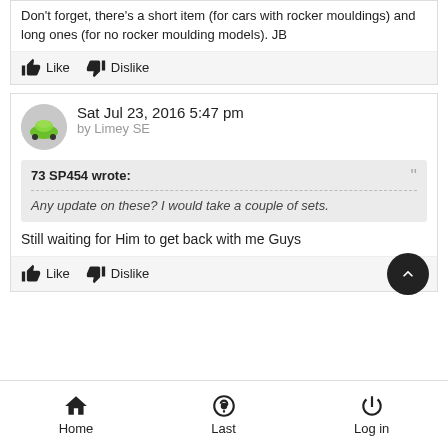Don't forget, there's a short item (for cars with rocker mouldings) and long ones (for no rocker moulding models). JB
Like  Dislike
Sat Jul 23, 2016 5:47 pm
by Limey SE
73 SP454 wrote:
Any update on these?  I would take a couple of sets.
Still waiting for Him to get back with me Guys
Like  Dislike
Home  Last  Log in